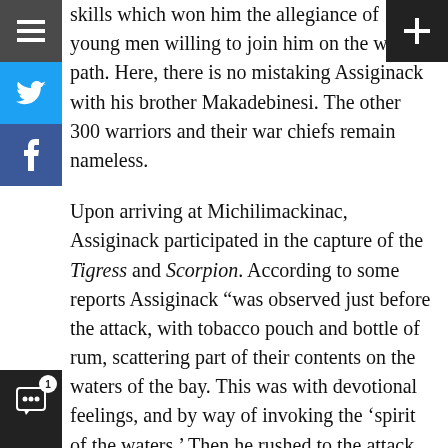skills which won him the allegiance of young men willing to join him on the war path. Here, there is no mistaking Assiginack with his brother Makadebinesi. The other 300 warriors and their war chiefs remain nameless.
Upon arriving at Michilimackinac, Assiginack participated in the capture of the Tigress and Scorpion. According to some reports Assiginack “was observed just before the attack, with tobacco pouch and bottle of rum, scattering part of their contents on the waters of the bay. This was with devotional feelings, and by way of invoking the ‘spirit of the waters.’ Then he rushed to the attack and was among the first to leap on board one of the enemy’s vessels.”[7] Assiginack’s